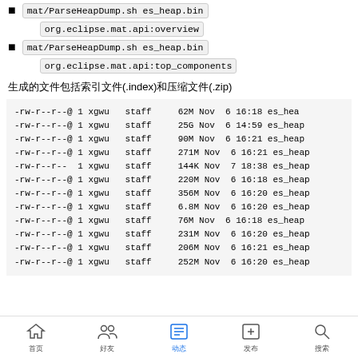mat/ParseHeapDump.sh es_heap.bin org.eclipse.mat.api:overview
mat/ParseHeapDump.sh es_heap.bin org.eclipse.mat.api:top_components
生成的文件包括索引文件(.index)和压缩文件(.zip)
-rw-r--r--@ 1 xgwu   staff     62M Nov  6 16:18 es_hea
-rw-r--r--@ 1 xgwu   staff     25G Nov  6 14:59 es_heap
-rw-r--r--@ 1 xgwu   staff     90M Nov  6 16:21 es_heap
-rw-r--r--@ 1 xgwu   staff    271M Nov  6 16:21 es_heap
-rw-r--r--  1 xgwu   staff    144K Nov  7 18:38 es_heap
-rw-r--r--@ 1 xgwu   staff    220M Nov  6 16:18 es_heap
-rw-r--r--@ 1 xgwu   staff    356M Nov  6 16:20 es_heap
-rw-r--r--@ 1 xgwu   staff    6.8M Nov  6 16:20 es_heap
-rw-r--r--@ 1 xgwu   staff     76M Nov  6 16:18 es_heap
-rw-r--r--@ 1 xgwu   staff    231M Nov  6 16:20 es_heap
-rw-r--r--@ 1 xgwu   staff    206M Nov  6 16:21 es_heap
-rw-r--r--@ 1 xgwu   staff    252M Nov  6 16:20 es_heap
Home | Friends | Feed | Add | Search